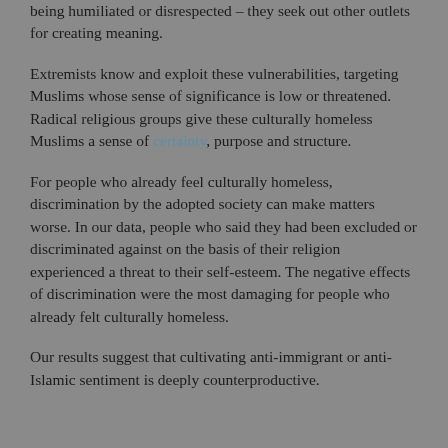being humiliated or disrespected – they seek out other outlets for creating meaning.
Extremists know and exploit these vulnerabilities, targeting Muslims whose sense of significance is low or threatened. Radical religious groups give these culturally homeless Muslims a sense of certainty, purpose and structure.
For people who already feel culturally homeless, discrimination by the adopted society can make matters worse. In our data, people who said they had been excluded or discriminated against on the basis of their religion experienced a threat to their self-esteem. The negative effects of discrimination were the most damaging for people who already felt culturally homeless.
Our results suggest that cultivating anti-immigrant or anti-Islamic sentiment is deeply counterproductive.